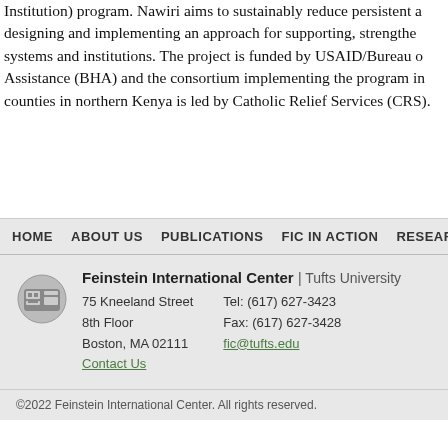Institution) program. Nawiri aims to sustainably reduce persistent a designing and implementing an approach for supporting, strengthe systems and institutions. The project is funded by USAID/Bureau o Assistance (BHA) and the consortium implementing the program in counties in northern Kenya is led by Catholic Relief Services (CRS).
HOME   ABOUT US   PUBLICATIONS   FIC IN ACTION   RESEARCH   WHO WE ARE   EDU
Feinstein International Center | Tufts University
75 Kneeland Street
8th Floor
Boston, MA 02111
Contact Us
Tel: (617) 627-3423
Fax: (617) 627-3428
fic@tufts.edu
©2022 Feinstein International Center. All rights reserved.